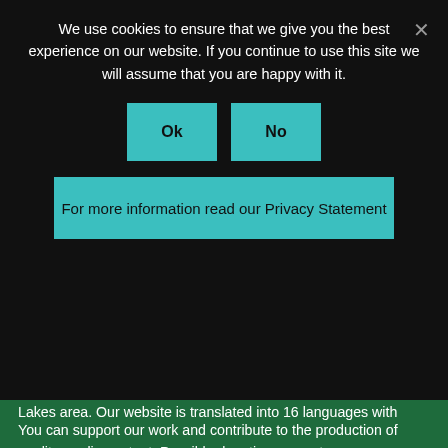We use cookies to ensure that we give you the best experience on our website. If you continue to use this site we will assume that you are happy with it.
Ok
No
For more information read our Privacy Statement
The Plitvice Times magazine is the only news media from Plitvice Lakes area. Our website is translated into 16 languages with readers from more than 100 countries. Every day we bring interesting news about tourism in Croatia and worldwide.
You can support our work and contribute to the production of quality media content. Possible donation amounts are: